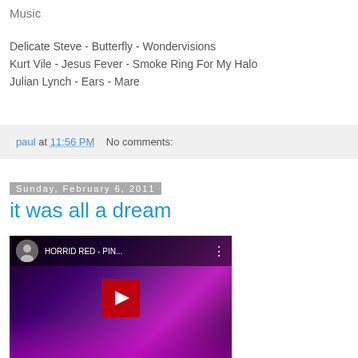Music
Delicate Steve - Butterfly - Wondervisions
Kurt Vile - Jesus Fever - Smoke Ring For My Halo
Julian Lynch - Ears - Mare
paul at 11:56 PM   No comments:
Sunday, February 6, 2011
it was all a dream
[Figure (screenshot): YouTube video thumbnail showing 'HORRID RED - PIN...' with a purple/dark floral background and a red YouTube play button in the center]